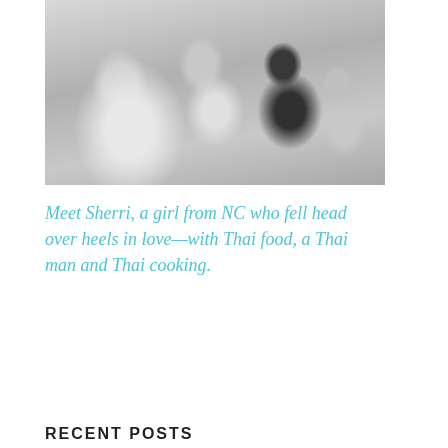[Figure (photo): Black and white family photo showing a woman with light hair, a man with glasses, and two young children, posed in front of a stone wall or arch]
Meet Sherri, a girl from NC who fell head over heels in love—with Thai food, a Thai man and Thai cooking.
RECENT POSTS